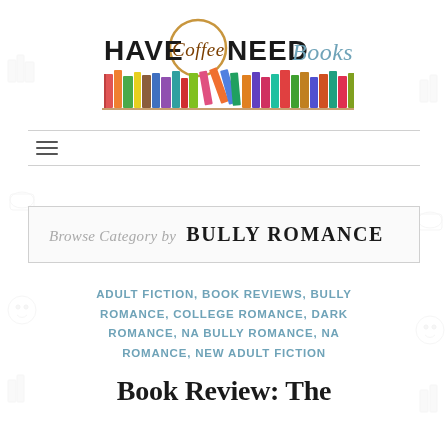[Figure (logo): Have Coffee Need Books logo with colorful books illustration and text]
Browse Category by  BULLY ROMANCE
ADULT FICTION, BOOK REVIEWS, BULLY ROMANCE, COLLEGE ROMANCE, DARK ROMANCE, NA BULLY ROMANCE, NA ROMANCE, NEW ADULT FICTION
Book Review: The